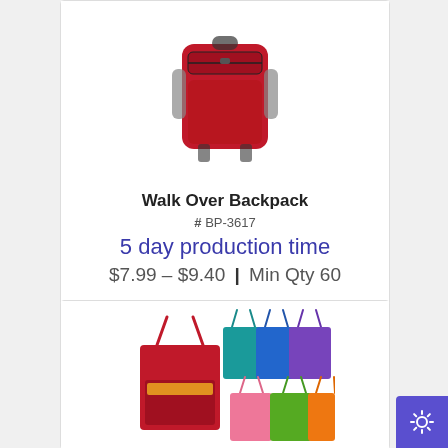[Figure (photo): Red Walk Over Backpack product image shown from back/top angle with side pockets and zipper detail]
Walk Over Backpack
# BP-3617
5 day production time
$7.99 - $9.40 | Min Qty 60
[Figure (other): Action button bar with shopping cart icon, email/envelope icon, and info icon]
[Figure (photo): Colorful tote bags product image showing one large red tote and multiple smaller totes in various colors including teal, blue, purple, pink, green]